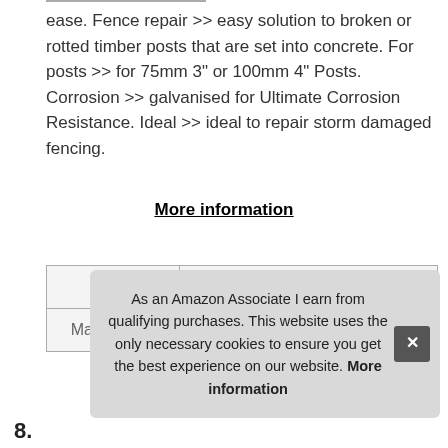ease. Fence repair >> easy solution to broken or rotted timber posts that are set into concrete. For posts >> for 75mm 3" or 100mm 4" Posts. Corrosion >> galvanised for Ultimate Corrosion Resistance. Ideal >> ideal to repair storm damaged fencing.
More information
|  |  |
| --- | --- |
| Brand | Avocet Hardware |
| Manufacturer | Avocet Hardware Group |
More information
As an Amazon Associate I earn from qualifying purchases. This website uses the only necessary cookies to ensure you get the best experience on our website. More information
8.